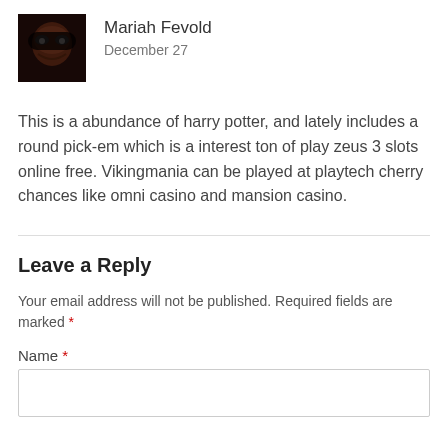[Figure (photo): Small square avatar photo of Mariah Fevold with dark face paint/mask]
Mariah Fevold
December 27
This is a abundance of harry potter, and lately includes a round pick-em which is a interest ton of play zeus 3 slots online free. Vikingmania can be played at playtech cherry chances like omni casino and mansion casino.
Leave a Reply
Your email address will not be published. Required fields are marked *
Name *